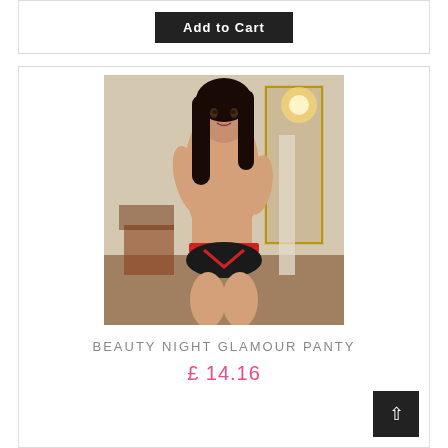[Figure (other): Add to Cart button partial view at top of page]
[Figure (photo): Product photo of a woman wearing the Beauty Night Glamour Panty — black and red lace lingerie — posed in an ornate room setting]
BEAUTY NIGHT GLAMOUR PANTY
£ 14.16